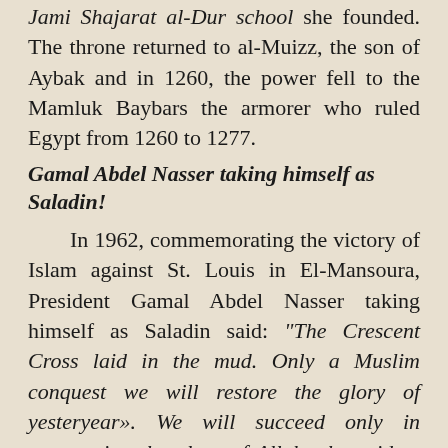Jami Shajarat al-Dur school she founded. The throne returned to al-Muizz, the son of Aybak and in 1260, the power fell to the Mamluk Baybars the armorer who ruled Egypt from 1260 to 1277.
Gamal Abdel Nasser taking himself as Saladin!
In 1962, commemorating the victory of Islam against St. Louis in El-Mansoura, President Gamal Abdel Nasser taking himself as Saladin said: "The Crescent Cross laid in the mud. Only a Muslim conquest we will restore the glory of yesteryear». We will succeed only in recapturing the glory of Allah when riders trample underfoot St. Peter in Rome and Notre Dame in Paris. "No mention of the episode Shajrat Al-Dur and the reign of the Mamluks, this assertion n 'was not